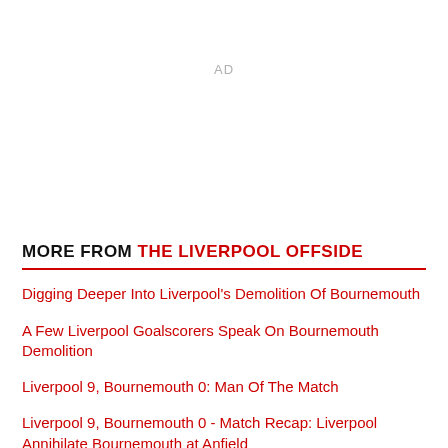AD
MORE FROM THE LIVERPOOL OFFSIDE
Digging Deeper Into Liverpool's Demolition Of Bournemouth
A Few Liverpool Goalscorers Speak On Bournemouth Demolition
Liverpool 9, Bournemouth 0: Man Of The Match
Liverpool 9, Bournemouth 0 - Match Recap: Liverpool Annihilate Bournemouth at Anfield